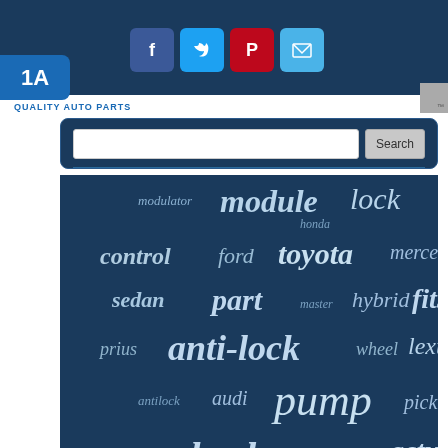[Figure (screenshot): 1A Auto website header with social media icons (Facebook, Twitter, Pinterest, Email) on dark blue background]
QUALITY AUTO PARTS
[Figure (infographic): Word cloud on dark blue background containing automotive parts terms: modulator, module, lock, control, ford, toyota, mercedes, sedan, part, master, hybrid, fits, prius, anti-lock, wheel, lexus, antilock, audi, pump, pickup, accord, brake, dodge, actuator, camry, booster, highlander, anti, cylinder, unit, hydraulic, braking, system]